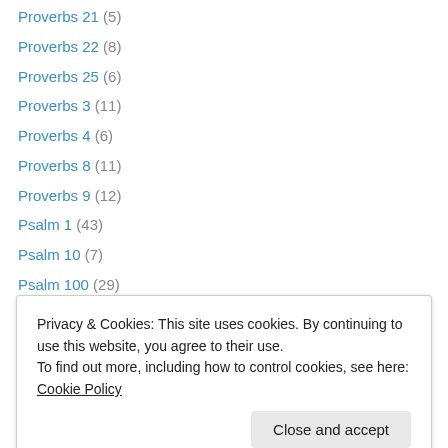Proverbs 21 (5)
Proverbs 22 (8)
Proverbs 25 (6)
Proverbs 3 (11)
Proverbs 4 (6)
Proverbs 8 (11)
Proverbs 9 (12)
Psalm 1 (43)
Psalm 10 (7)
Psalm 100 (29)
Psalm 101 (7)
Psalm 102 (32)
Psalm 103 (42)
Privacy & Cookies: This site uses cookies. By continuing to use this website, you agree to their use. To find out more, including how to control cookies, see here: Cookie Policy
Psalm 11 (8)